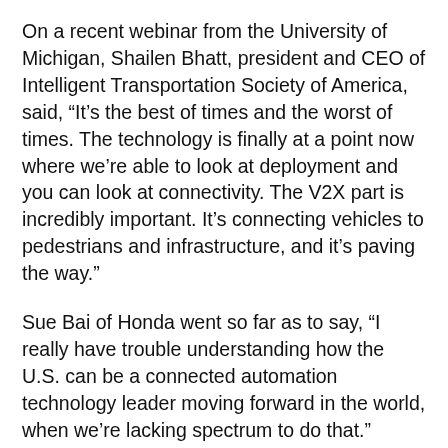On a recent webinar from the University of Michigan, Shailen Bhatt, president and CEO of Intelligent Transportation Society of America, said, “It’s the best of times and the worst of times. The technology is finally at a point now where we’re able to look at deployment and you can look at connectivity. The V2X part is incredibly important. It’s connecting vehicles to pedestrians and infrastructure, and it’s paving the way.”
Sue Bai of Honda went so far as to say, “I really have trouble understanding how the U.S. can be a connected automation technology leader moving forward in the world, when we’re lacking spectrum to do that.”
The problem comes down to the effect that a more limited spectrum would have. Bai emphasized that it’s damaging to both future and current safety applications, because an influx of vehicles on one channel could diminish the quality of the communication. In fact, it would diminish the quality and create interference in more than 27 states.